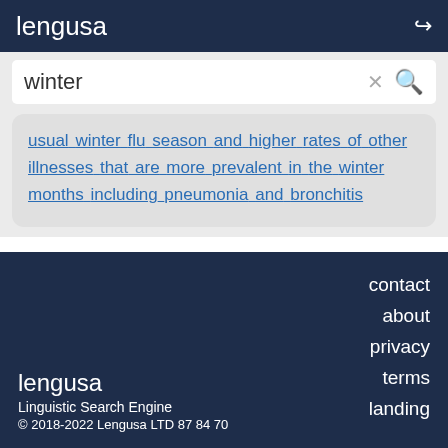lengusa
winter
usual winter flu season and higher rates of other illnesses that are more prevalent in the winter months including pneumonia and bronchitis
contact
about
privacy
terms
landing
lengusa
Linguistic Search Engine
© 2018-2022 Lengusa LTD 87 84 70